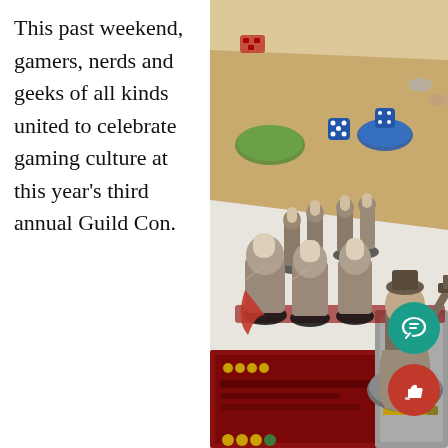This past weekend, gamers, nerds and geeks of all kinds united to celebrate gaming culture at this year's third annual Guild Con.
[Figure (photo): A tabletop miniature wargame scene showing painted miniature figures on a game board with terrain tiles, dice, and cards. Blue dice and circular terrain tokens are visible on a brown game mat. Multiple miniature warrior figures in white and brown are arranged in formation. A larger miniature on a round base holds a weapon aloft in the foreground right.]